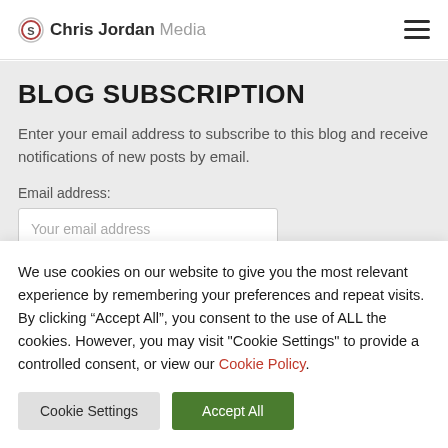Chris Jordan Media
BLOG SUBSCRIPTION
Enter your email address to subscribe to this blog and receive notifications of new posts by email.
Email address:
Your email address
We use cookies on our website to give you the most relevant experience by remembering your preferences and repeat visits. By clicking “Accept All”, you consent to the use of ALL the cookies. However, you may visit "Cookie Settings" to provide a controlled consent, or view our Cookie Policy.
Cookie Settings
Accept All